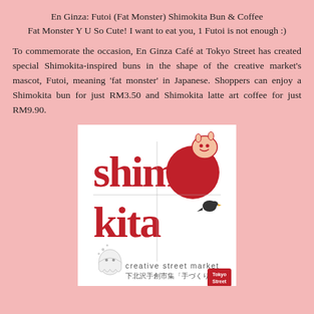En Ginza: Futoi (Fat Monster) Shimokita Bun & Coffee
Fat Monster Y U So Cute! I want to eat you, 1 Futoi is not enough :)
To commemorate the occasion, En Ginza Café at Tokyo Street has created special Shimokita-inspired buns in the shape of the creative market's mascot, Futoi, meaning 'fat monster' in Japanese. Shoppers can enjoy a Shimokita bun for just RM3.50 and Shimokita latte art coffee for just RM9.90.
[Figure (logo): Shimokita creative street market logo with red stylized text reading 'shimokita', featuring a round red character with a cute monster face and a small bird, below reads 'creative street market' and Japanese text '下北沢手創市集「手づくり市」' with a Tokyo Street red badge]